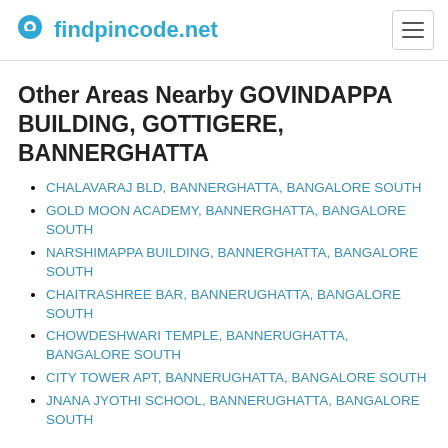findpincode.net
Other Areas Nearby GOVINDAPPA BUILDING, GOTTIGERE, BANNERGHATTA
CHALAVARAJ BLD, BANNERGHATTA, BANGALORE SOUTH
GOLD MOON ACADEMY, BANNERGHATTA, BANGALORE SOUTH
NARSHIMAPPA BUILDING, BANNERGHATTA, BANGALORE SOUTH
CHAITRASHREE BAR, BANNERUGHATTA, BANGALORE SOUTH
CHOWDESHWARI TEMPLE, BANNERUGHATTA, BANGALORE SOUTH
CITY TOWER APT, BANNERUGHATTA, BANGALORE SOUTH
JNANA JYOTHI SCHOOL, BANNERUGHATTA, BANGALORE SOUTH